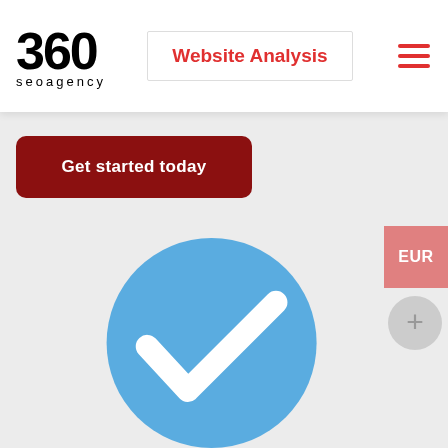[Figure (logo): 360 seoagency logo — bold '360' text with 'seoagency' label beneath]
Website Analysis
[Figure (infographic): Hamburger menu icon — three red horizontal bars]
[Figure (infographic): Dark red rounded 'Get started today' call-to-action button]
[Figure (infographic): Large blue circle with white checkmark, partially visible at bottom of page]
EUR
[Figure (infographic): Grey circular plus (+) button]